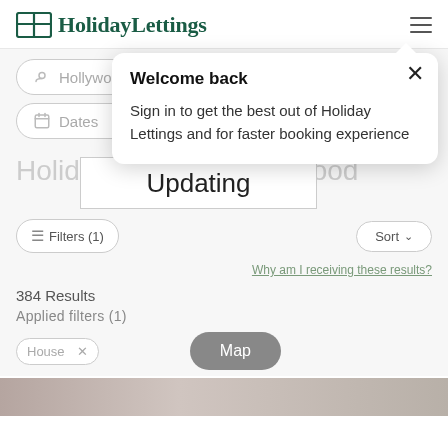[Figure (screenshot): HolidayLettings website header with logo and hamburger menu]
Hollywood
Dates
Welcome back
Sign in to get the best out of Holiday Lettings and for faster booking experience
Updating
Holiday h...ollywood
Filters (1)
Sort
Why am I receiving these results?
384 Results
Applied filters (1)
House  ×
Map